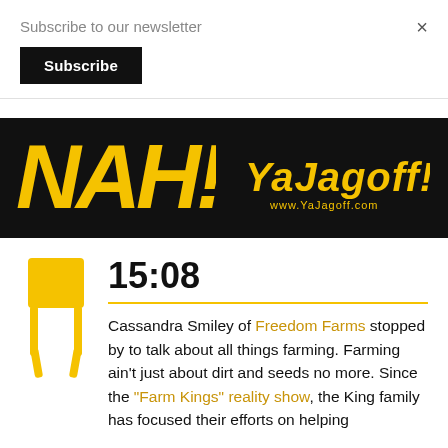Subscribe to our newsletter
Subscribe
×
[Figure (logo): YaJagoff! podcast banner with large yellow NAH! text on black background, YaJagoff! logo in yellow stylized font, and www.YaJagoff.com URL]
15:08
Cassandra Smiley of Freedom Farms stopped by to talk about all things farming. Farming ain't just about dirt and seeds no more. Since the "Farm Kings" reality show, the King family has focused their efforts on helping